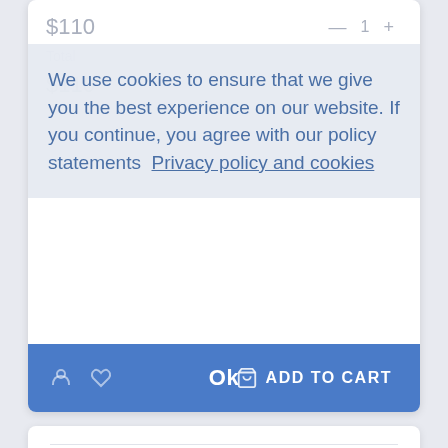$110
— 1 +
Total
$110
We use cookies to ensure that we give you the best experience on our website. If you continue, you agree with our policy statements  Privacy policy and cookies
Ok
ADD TO CART
Description
Product Details
Side Daytime Running light for Porsche Macan (2014-up) models.
[Figure (other): WhatsApp contact button (green circle with WhatsApp icon)]